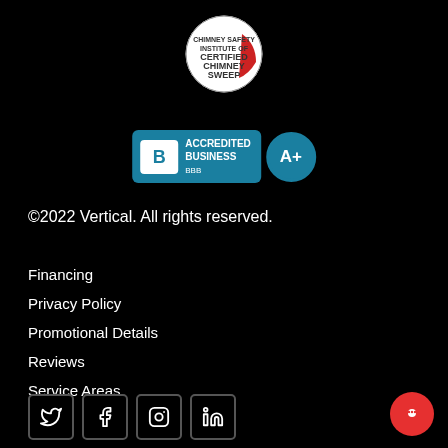[Figure (logo): Certified Chimney Sweep circular logo badge with red and white design]
[Figure (logo): BBB Accredited Business A+ rating badge in teal/blue]
©2022 Vertical. All rights reserved.
Financing
Privacy Policy
Promotional Details
Reviews
Service Areas
[Figure (illustration): Social media icons: Twitter, Facebook, Instagram, LinkedIn]
[Figure (illustration): Red chat button circle in bottom right corner]